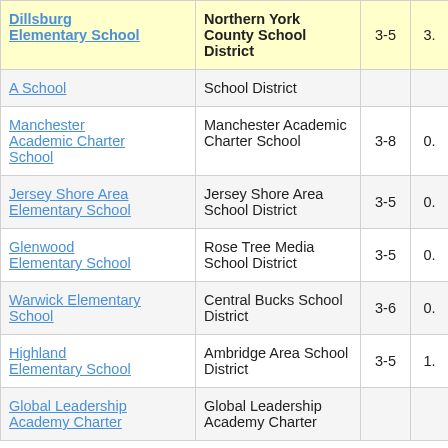| School Name | District | Grades | Value |
| --- | --- | --- | --- |
| Dillsburg Elementary School | Northern York County School District | 3-5 | 3. |
| A School | School District |  |  |
| Manchester Academic Charter School | Manchester Academic Charter School | 3-8 | 0. |
| Jersey Shore Area Elementary School | Jersey Shore Area School District | 3-5 | 0. |
| Glenwood Elementary School | Rose Tree Media School District | 3-5 | 0. |
| Warwick Elementary School | Central Bucks School District | 3-6 | 0. |
| Highland Elementary School | Ambridge Area School District | 3-5 | 1. |
| Global Leadership Academy Charter | Global Leadership Academy Charter |  |  |